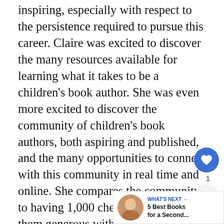inspiring, especially with respect to the persistence required to pursue this career. Claire was excited to discover the many resources available for learning what it takes to be a children's book author. She was even more excited to discover the community of children's book authors, both aspiring and published, and the many opportunities to connect with this community in real time and online. She compares the community to having 1,000 cheerleaders, all of them generous with their time, celebrating one another's successes and offering encouragement after the inevitable rejections.

Claire told me that online critique gr one-on-one critique sessions with agents and editors, usually in conjunction with conferences